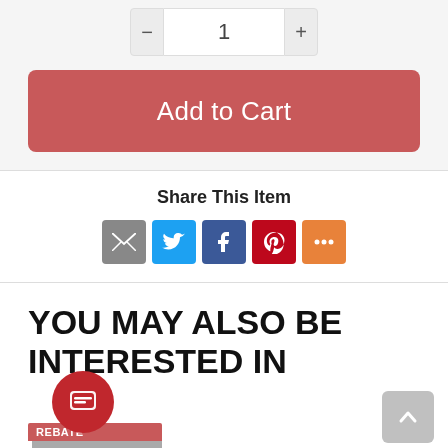[Figure (other): Quantity selector with minus button, input field showing 1, and plus button]
[Figure (other): Red Add to Cart button]
Share This Item
[Figure (other): Social share icons: email (grey), Twitter (blue), Facebook (dark blue), Pinterest (red), More (orange)]
YOU MAY ALSO BE INTERESTED IN
[Figure (other): Rebate badge with product image at bottom]
[Figure (other): Chat bubble icon overlay (red circle with message icon)]
[Figure (other): Scroll to top button (grey rounded square with up arrow)]